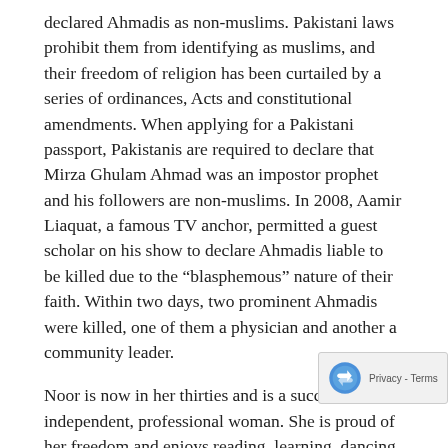declared Ahmadis as non-muslims. Pakistani laws prohibit them from identifying as muslims, and their freedom of religion has been curtailed by a series of ordinances, Acts and constitutional amendments. When applying for a Pakistani passport, Pakistanis are required to declare that Mirza Ghulam Ahmad was an impostor prophet and his followers are non-muslims. In 2008, Aamir Liaquat, a famous TV anchor, permitted a guest scholar on his show to declare Ahmadis liable to be killed due to the “blasphemous” nature of their faith. Within two days, two prominent Ahmadis were killed, one of them a physician and another a community leader.
Noor is now in her thirties and is a successful, independent, professional woman. She is proud of her freedom and enjoys reading, learning, dancing, and carnal pleasures.
She once had the opportunity to travel to a non-muslim country in South-east Asia. For the first time in her life, she could wear a skirt and feel the tenderness of the